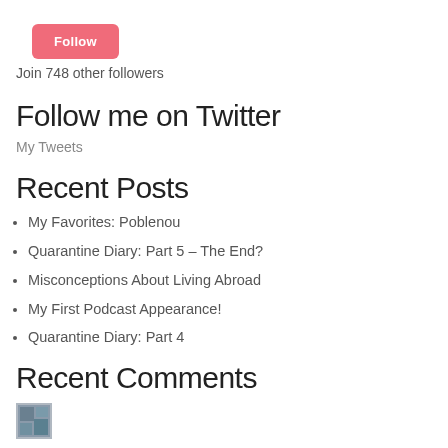Follow
Join 748 other followers
Follow me on Twitter
My Tweets
Recent Posts
My Favorites: Poblenou
Quarantine Diary: Part 5 – The End?
Misconceptions About Living Abroad
My First Podcast Appearance!
Quarantine Diary: Part 4
Recent Comments
[Figure (photo): Small avatar/thumbnail image at bottom left]